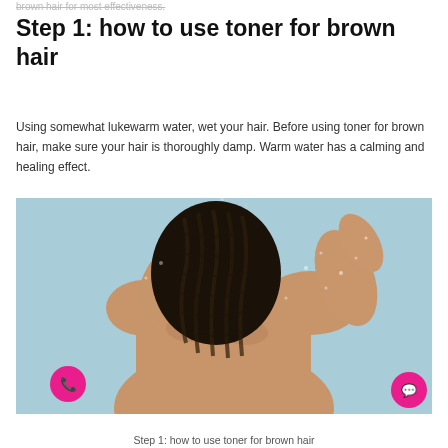brown hair for most effectiveness.
Step 1: how to use toner for brown hair
Using somewhat lukewarm water, wet your hair. Before using toner for brown hair, make sure your hair is thoroughly damp. Warm water has a calming and healing effect.
[Figure (photo): Person in shower washing long dark braided hair, viewed from behind, arms raised holding hair, water droplets visible, light blue tiled wall in background. Pink phone/call button icon overlaid bottom-left, pink chat button bottom-right.]
Step 1: how to use toner for brown hair